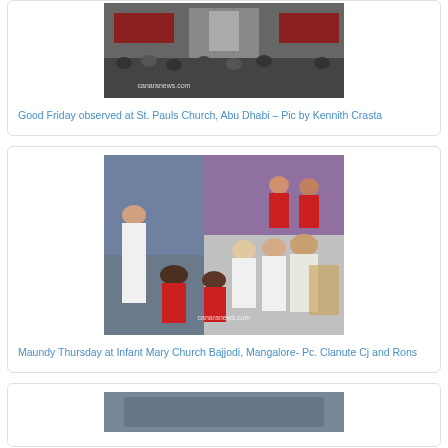[Figure (photo): Church interior with congregation seated, view toward altar, Good Friday service at St. Pauls Church Abu Dhabi, with canaranews.com watermark]
Good Friday observed at St. Pauls Church, Abu Dhabi – Pic by Kennith Crasta
[Figure (photo): Maundy Thursday foot washing ceremony at Infant Mary Church Bajjodi, Mangalore, people in white robes, red and white altar servers, canaranews.com watermark]
Maundy Thursday at Infant Mary Church Bajjodi, Mangalore- Pc. Clanute Cj and Rons
[Figure (photo): Partial view of another church event photo at bottom of page]